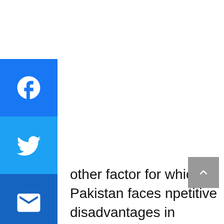[Figure (other): Social media share buttons column: Facebook (blue), Twitter (blue), Email (dark blue), Reddit (orange), LinkedIn (blue), WhatsApp (green)]
other factor for which Pakistan faces npetitive disadvantages in tourism sector the lack of facilities that cannot compete international standards. With a poor tourism infrastructure the provision of ndard and competitive hotel rooms in kistan is at number 110, the national and